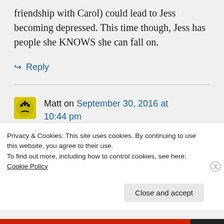friendship with Carol) could lead to Jess becoming depressed. This time though, Jess has people she KNOWS she can fall on.
↪ Reply
Matt on September 30, 2016 at 10:44 pm
Yeah, I agree. I can certainly
Privacy & Cookies: This site uses cookies. By continuing to use this website, you agree to their use.
To find out more, including how to control cookies, see here: Cookie Policy
Close and accept